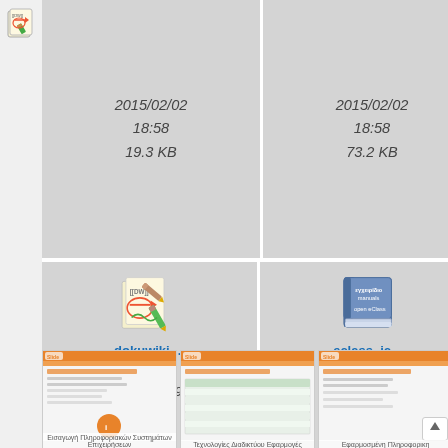[Figure (screenshot): DokuWiki logo icon in the left sidebar]
[Figure (screenshot): File thumbnail cell showing date 2015/02/02 18:58, size 19.3 KB]
[Figure (screenshot): File thumbnail cell showing date 2015/02/02 18:58, size 73.2 KB]
[Figure (screenshot): Partial file thumbnail cell showing date starting 2014..., size 60...]
[Figure (screenshot): DokuWiki icon thumbnail card: dokuwiki-... 128x128 2012/04/19 12:36 32.8 KB]
[Figure (screenshot): eClass icon thumbnail card: eclass_ic... 256x256 2012/12/12 14:37 27.7 KB]
[Figure (screenshot): Partial thumbnail card with action icons on right sidebar]
[Figure (screenshot): Bottom row: three partial preview thumbnail images of Greek presentation slides]